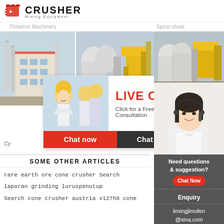[Figure (logo): Crusher Mining Equipment logo with red shopping bag icon and bold CRUSHER text]
Flotation Machinery    Spiral chute
[Figure (photo): Two industrial facility photos side by side - left shows industrial building with pipes, right shows mining/processing equipment with yellow machinery. Live chat overlay popup with workers in hard hats.]
LIVE CHAT
Click for a Free Consultation
Chat now    Chat later
Cy
SOME OTHER ARTICLES
rare earth ore cone crusher Search
laporan grinding luruspenutup
Search cone crusher austria v127h8 cone
24Hrs Online
Need questions & suggestion?
Chat Now
Enquiry
limingjlmofen@sina.com